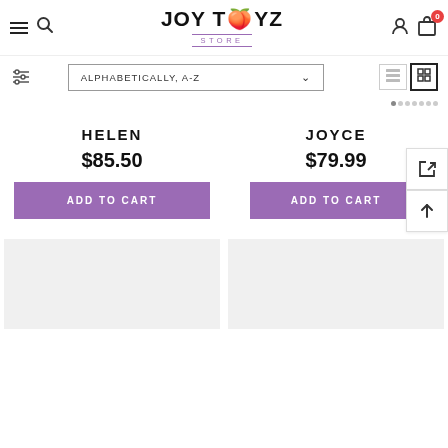JOYTOYZ STORE — Navigation header with hamburger menu, search, logo, user icon, cart (0)
ALPHABETICALLY, A-Z (sort dropdown)
HELEN
$85.50
ADD TO CART
JOYCE
$79.99
ADD TO CART
[Figure (screenshot): Two gray placeholder product image boxes at bottom of page]